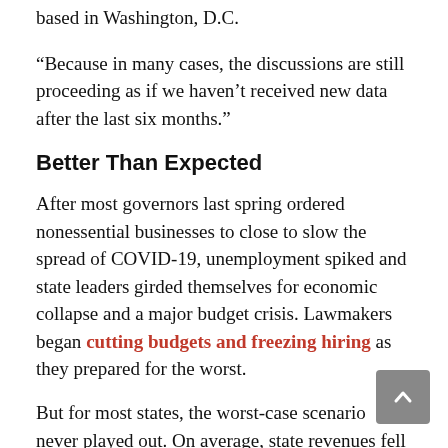based in Washington, D.C.
“Because in many cases, the discussions are still proceeding as if we haven’t received new data after the last six months.”
Better Than Expected
After most governors last spring ordered nonessential businesses to close to slow the spread of COVID-19, unemployment spiked and state leaders girded themselves for economic collapse and a major budget crisis. Lawmakers began cutting budgets and freezing hiring as they prepared for the worst.
But for most states, the worst-case scenario never played out. On average, state revenues fell 1.8% during April-December 2020 compared with the same period in 2019, the Urban Institute has found.